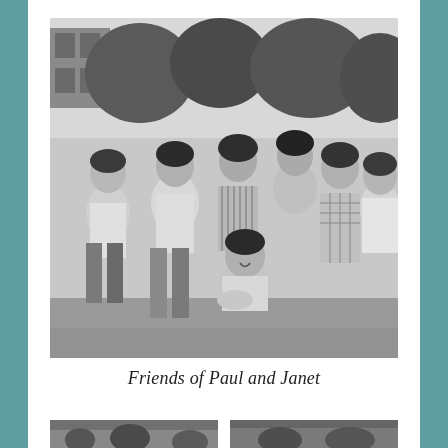[Figure (photo): Black and white vintage photograph of a group of young people (approximately 7 individuals, mostly girls/young women and one boy crouching in the front) posing outdoors with trees and a building visible in the background.]
Friends of Paul and Janet
[Figure (photo): Partially visible black and white photograph at the bottom left of the page.]
[Figure (photo): Partially visible black and white photograph at the bottom right of the page.]